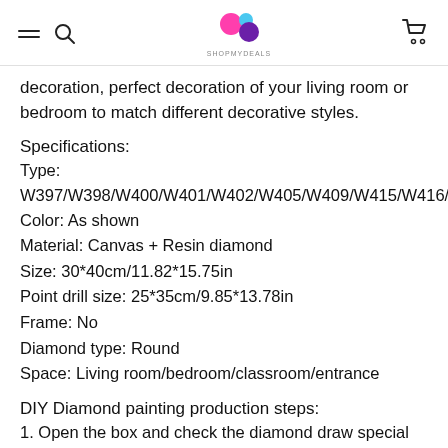SHOPMYDEALS
decoration, perfect decoration of your living room or bedroom to match different decorative styles.
Specifications:
Type: W397/W398/W400/W401/W402/W405/W409/W415/W416/W...
Color: As shown
Material: Canvas + Resin diamond
Size: 30*40cm/11.82*15.75in
Point drill size: 25*35cm/9.85*13.78in
Frame: No
Diamond type: Round
Space: Living room/bedroom/classroom/entrance
DIY Diamond painting production steps:
1. Open the box and check the diamond draw special